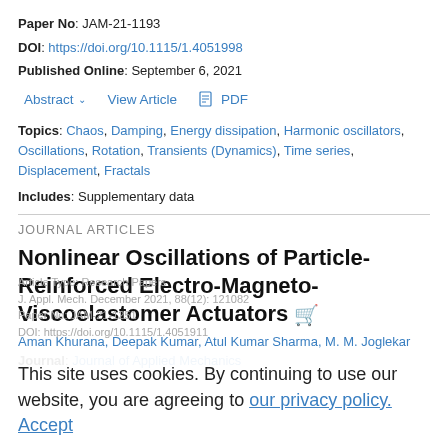Paper No: JAM-21-1193
DOI: https://doi.org/10.1115/1.4051998
Published Online: September 6, 2021
Abstract ∨   View Article   🛒 PDF
Topics: Chaos, Damping, Energy dissipation, Harmonic oscillators, Oscillations, Rotation, Transients (Dynamics), Time series, Displacement, Fractals
Includes: Supplementary data
JOURNAL ARTICLES
Nonlinear Oscillations of Particle-Reinforced Electro-Magneto-Viscoelastomer Actuators
Aman Khurana, Deepak Kumar, Atul Kumar Sharma, M. M. Joglekar
Journal: Journal of Applied Mechanics
Article Type: Research Papers
This site uses cookies. By continuing to use our website, you are agreeing to our privacy policy. Accept